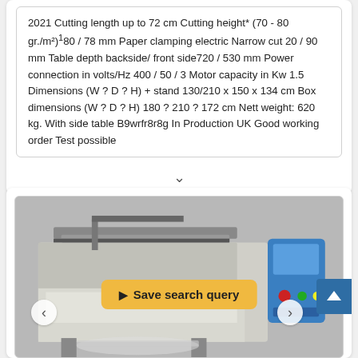2021 Cutting length up to 72 cm Cutting height* (70 - 80 gr./m²)¹80 / 78 mm Paper clamping electric Narrow cut 20 / 90 mm Table depth backside/ front side720 / 530 mm Power connection in volts/Hz 400 / 50 / 3 Motor capacity in Kw 1.5 Dimensions (W ? D ? H) + stand 130/210 x 150 x 134 cm Box dimensions (W ? D ? H) 180 ? 210 ? 172 cm Nett weight: 620 kg. With side table B9wrfr8r8g In Production UK Good working order Test possible
[Figure (photo): Industrial paper cutting machine with blue control panel on the right. Appears to be a heavy-duty guillotine cutter. Navigation arrows visible on left and right sides. 'Save search query' button overlaid in orange/yellow. Scroll-up button in blue on the right edge.]